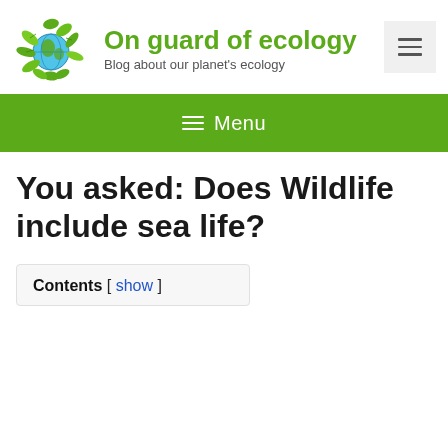[Figure (logo): Green globe with leaves ecology logo]
On guard of ecology
Blog about our planet's ecology
[Figure (other): Hamburger menu toggle button with three horizontal lines]
≡ Menu
You asked: Does Wildlife include sea life?
Contents [ show ]